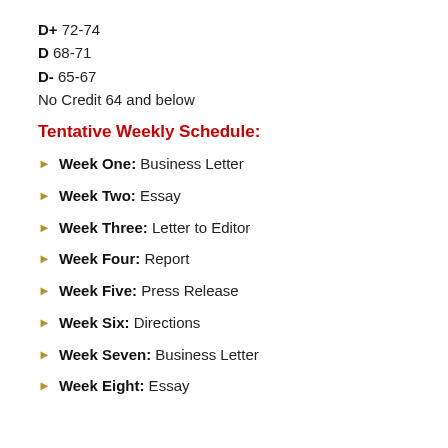D+ 72-74
D 68-71
D- 65-67
No Credit 64 and below
Tentative Weekly Schedule:
Week One: Business Letter
Week Two: Essay
Week Three: Letter to Editor
Week Four: Report
Week Five: Press Release
Week Six: Directions
Week Seven: Business Letter
Week Eight: Essay